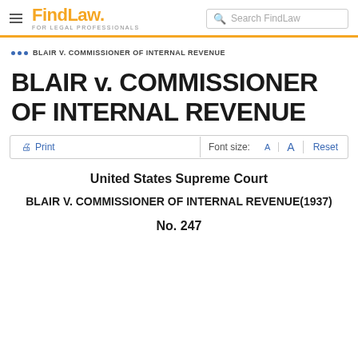FindLaw FOR LEGAL PROFESSIONALS | Search FindLaw
... BLAIR V. COMMISSIONER OF INTERNAL REVENUE
BLAIR v. COMMISSIONER OF INTERNAL REVENUE
Print | Font size: A A Reset
United States Supreme Court
BLAIR V. COMMISSIONER OF INTERNAL REVENUE(1937)
No. 247